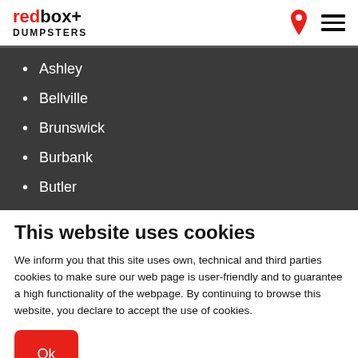redbox+ DUMPSTERS
Ashley
Bellville
Brunswick
Burbank
Butler
This website uses cookies
We inform you that this site uses own, technical and third parties cookies to make sure our web page is user-friendly and to guarantee a high functionality of the webpage. By continuing to browse this website, you declare to accept the use of cookies.
Ok